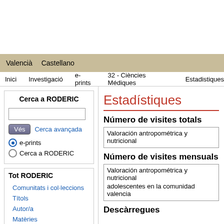Valencià  Castellano
Inici  Investigació  e-prints  32 - Ciències Médiques  Estadistiques
Cerca a RODERIC
Vés  Cerca avançada
e-prints
Cerca a RODERIC
Tot RODERIC
Comunitats i col·leccions
Títols
Autor/a
Matèries
Tipus de document
Estadístiques
Número de visites totals
Valoración antropométrica y nutricional
Número de visites mensuals
Valoración antropométrica y nutricional adolescentes en la comunidad valencia
Descàrregues